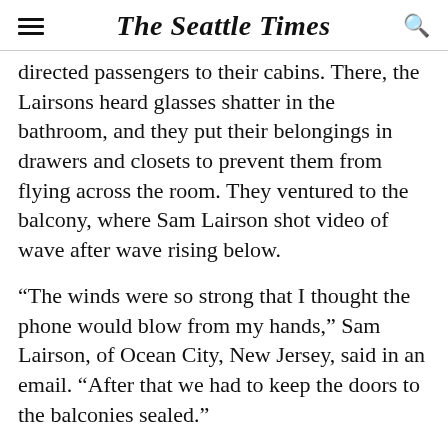The Seattle Times
directed passengers to their cabins. There, the Lairsons heard glasses shatter in the bathroom, and they put their belongings in drawers and closets to prevent them from flying across the room. They ventured to the balcony, where Sam Lairson shot video of wave after wave rising below.
“The winds were so strong that I thought the phone would blow from my hands,” Sam Lairson, of Ocean City, New Jersey, said in an email. “After that we had to keep the doors to the balconies sealed.”
The ship — with more than 4,500 guests and 1,600 crew members — sailed Saturday from Cape Liberty, New Jersey. It was scheduled to arrive for a stop at Port Canaveral, Florida, at noon Monday, then move on to other stops in the Caribbean. But Presly...